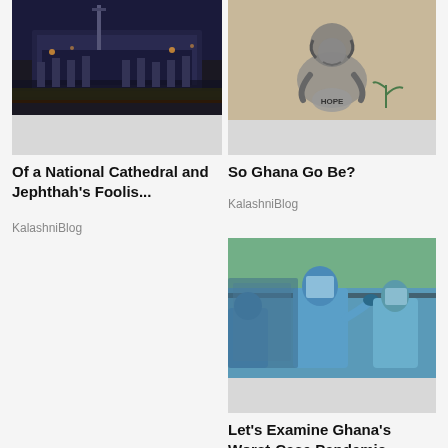[Figure (photo): Night photo of a large modern building with lights, possibly a stadium or cathedral]
Of a National Cathedral and Jephthah's Foolis...
KalashniBlog
[Figure (illustration): Black and white illustration of a hunched figure holding a stone labeled HOPE, with a small plant sprouting nearby]
So Ghana Go Be?
KalashniBlog
[Figure (photo): Photo of healthcare workers in blue PPE gear at what appears to be a COVID-19 testing site]
Let's Examine Ghana's Worst-Case Pandemic